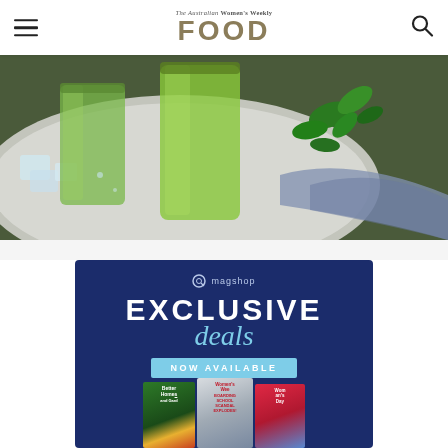The Australian Women's Weekly FOOD
[Figure (photo): Close-up photo of green drinks in glass jars with ice cubes and fresh basil leaves on a white plate with a blue cloth napkin]
[Figure (infographic): Magshop advertisement banner on dark navy blue background showing 'EXCLUSIVE deals NOW AVAILABLE' with magazine covers for Better Homes and Gardens, The Australian Women's Weekly, and Woman's Day at the bottom]